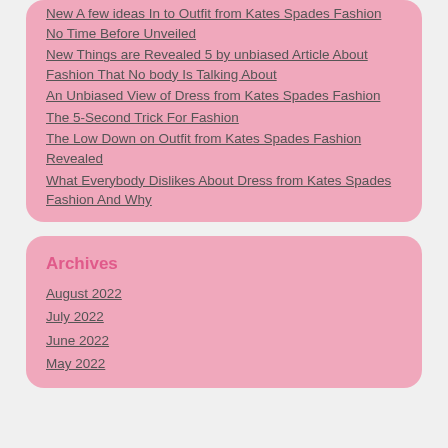New A few ideas In to Outfit from Kates Spades Fashion No Time Before Unveiled
New Things are Revealed 5 by unbiased Article About Fashion That No body Is Talking About
An Unbiased View of Dress from Kates Spades Fashion
The 5-Second Trick For Fashion
The Low Down on Outfit from Kates Spades Fashion Revealed
What Everybody Dislikes About Dress from Kates Spades Fashion And Why
Archives
August 2022
July 2022
June 2022
May 2022